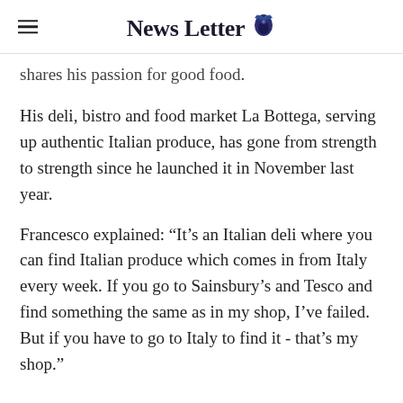News Letter
shares his passion for good food.
His deli, bistro and food market La Bottega, serving up authentic Italian produce, has gone from strength to strength since he launched it in November last year.
Francesco explained: “It’s an Italian deli where you can find Italian produce which comes in from Italy every week. If you go to Sainsbury’s and Tesco and find something the same as in my shop, I’ve failed. But if you have to go to Italy to find it - that’s my shop.”